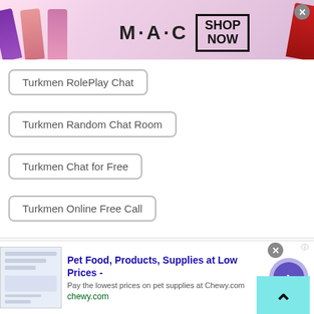[Figure (screenshot): MAC cosmetics advertisement banner with lipsticks, MAC logo, and SHOP NOW button]
Turkmen RolePlay Chat
Turkmen Random Chat Room
Turkmen Chat for Free
Turkmen Online Free Call
Turkmen Omegle Teen
Turkmen Call
Turkmen Senior Chat
Turkmen Free Text
Turkmen Free Text Online
[Figure (screenshot): Chewy.com pet food advertisement with title 'Pet Food, Products, Supplies at Low Prices -', description 'Pay the lowest prices on pet supplies at Chewy.com', URL chewy.com, and navigation arrow button]